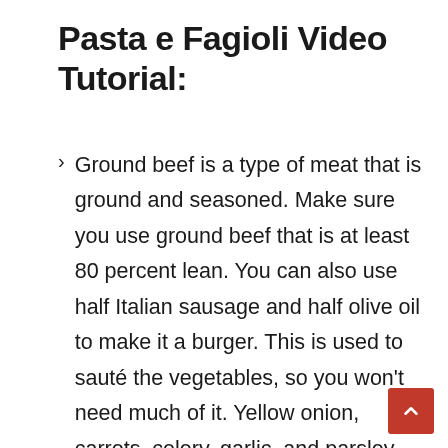Pasta e Fagioli Video Tutorial:
Ground beef is a type of meat that is ground and seasoned. Make sure you use ground beef that is at least 80 percent lean. You can also use half Italian sausage and half olive oil to make it a burger. This is used to sauté the vegetables, so you won't need much of it. Yellow onion, carrots, celery, garlic, and parsley are among the vegetables used. Canned tomato sauce, chopped tomatoes, kidney beans, great northern beans, and low-sodium chicken broth